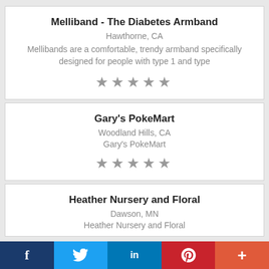Melliband - The Diabetes Armband
Hawthorne, CA
Mellibands are a comfortable, trendy armband specifically designed for people with type 1 and type
★★★★★
Gary's PokeMart
Woodland Hills, CA
Gary's PokeMart
★★★★★
Heather Nursery and Floral
Dawson, MN
Heather Nursery and Floral
f  𝕥  in  𝕡  +